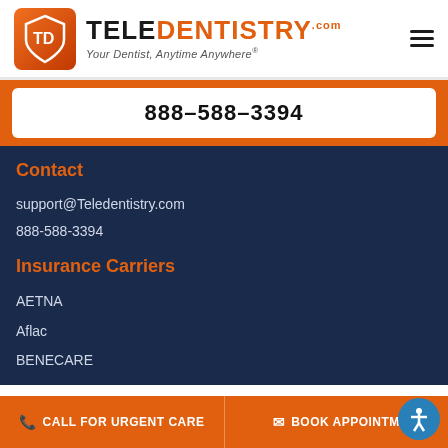[Figure (logo): TeleDentistry logo with orange shield icon and text 'TELEDENTISTRY.com' and tagline 'Your Dentist, Anytime Anywhere®']
888-588-3394
Contact
support@Teledentistry.com
888-588-3394
Insurance Carriers
AETNA
Aflac
BENECARE
CALL FOR URGENT CARE
BOOK APPOINTMENT